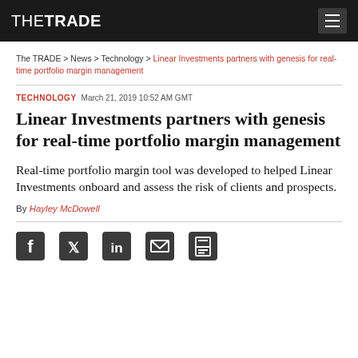THETRADE
The TRADE > News > Technology > Linear Investments partners with genesis for real-time portfolio margin management
TECHNOLOGY   March 21, 2019 10:52 AM GMT
Linear Investments partners with genesis for real-time portfolio margin management
Real-time portfolio margin tool was developed to helped Linear Investments onboard and assess the risk of clients and prospects.
By Hayley McDowell